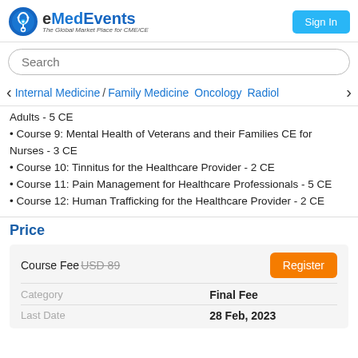[Figure (logo): eMedEvents logo with stethoscope icon and tagline 'The Global Market Place for CME/CE']
Sign In
Search
Internal Medicine / Family Medicine  Oncology  Radiol
Adults - 5 CE
Course 9: Mental Health of Veterans and their Families CE for Nurses - 3 CE
Course 10: Tinnitus for the Healthcare Provider - 2 CE
Course 11: Pain Management for Healthcare Professionals - 5 CE
Course 12: Human Trafficking for the Healthcare Provider - 2 CE
Price
| Category | Value | Action |
| --- | --- | --- |
| Course Fee | USD 89 | Register |
| Category | Final Fee |  |
| Last Date | 28 Feb, 2023 |  |